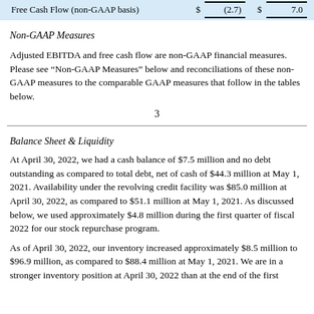|  | $ |  | $ |  |
| --- | --- | --- | --- | --- |
| Free Cash Flow (non-GAAP basis) | $ | (2.7) | $ | 7.0 |
Non-GAAP Measures
Adjusted EBITDA and free cash flow are non-GAAP financial measures. Please see “Non-GAAP Measures” below and reconciliations of these non-GAAP measures to the comparable GAAP measures that follow in the tables below.
3
Balance Sheet & Liquidity
At April 30, 2022, we had a cash balance of $7.5 million and no debt outstanding as compared to total debt, net of cash of $44.3 million at May 1, 2021. Availability under the revolving credit facility was $85.0 million at April 30, 2022, as compared to $51.1 million at May 1, 2021. As discussed below, we used approximately $4.8 million during the first quarter of fiscal 2022 for our stock repurchase program.
As of April 30, 2022, our inventory increased approximately $8.5 million to $96.9 million, as compared to $88.4 million at May 1, 2021. We are in a stronger inventory position at April 30, 2022 than at the end of the first